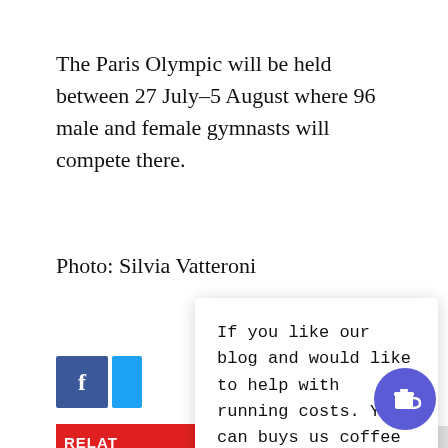The Paris Olympic will be held between 27 July–5 August where 96 male and female gymnasts will compete there.
Photo: Silvia Vatteroni
If you like our blog and would like to help with running costs. You can buys us coffee ;) Thank you for your support.